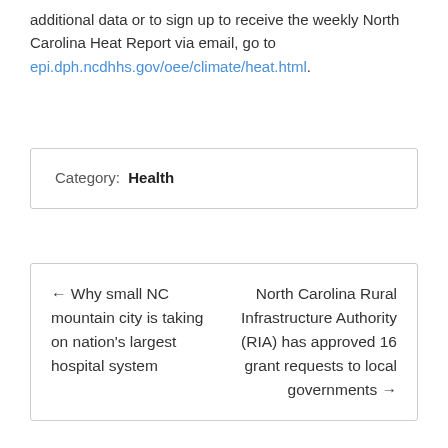additional data or to sign up to receive the weekly North Carolina Heat Report via email, go to epi.dph.ncdhhs.gov/oee/climate/heat.html.
Category: Health
← Why small NC mountain city is taking on nation's largest hospital system
North Carolina Rural Infrastructure Authority (RIA) has approved 16 grant requests to local governments →